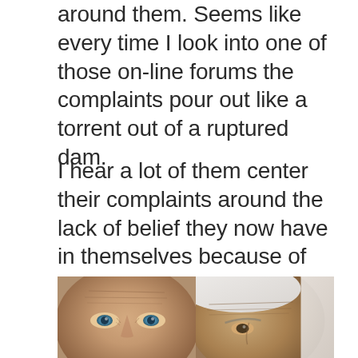around them. Seems like every time I look into one of those on-line forums the complaints pour out like a torrent out of a ruptured dam.
I hear a lot of them center their complaints around the lack of belief they now have in themselves because of the bind they find themselves in. They seem to feel that, as economic downturn victimitis sets in, their sense of control over their family's future is weakening. They sound rather helpless like they're all on the verge of falling into the chasm of despair and hopelessness.
[Figure (photo): Two elderly people shown in close-up. Left: elderly person with light blue-green eyes and wrinkled skin. Right: elderly person with white hair and wrinkled forehead, viewed from the side.]